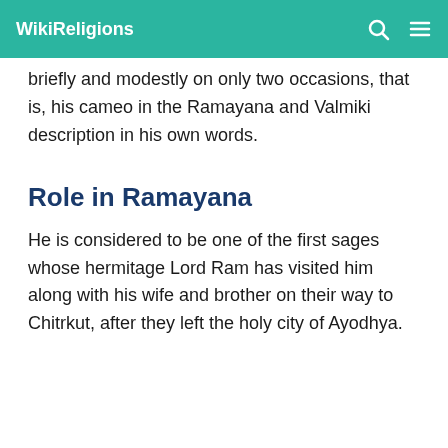WikiReligions
briefly and modestly on only two occasions, that is, his cameo in the Ramayana and Valmiki description in his own words.
Role in Ramayana
He is considered to be one of the first sages whose hermitage Lord Ram has visited him along with his wife and brother on their way to Chitrkut, after they left the holy city of Ayodhya.